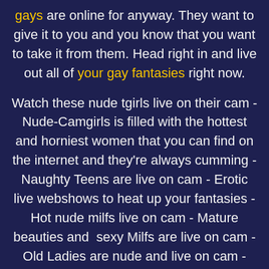gays are online for anyway. They want to give it to you and you know that you want to take it from them. Head right in and live out all of your gay fantasies right now.
Watch these nude tgirls live on their cam - Nude-Camgirls is filled with the hottest and horniest women that you can find on the internet and they're always cumming - Naughty Teens are live on cam - Erotic live webshows to heat up your fantasies - Hot nude milfs live on cam - Mature beauties and  sexy Milfs are live on cam - Old Ladies are nude and live on cam - Twinks love to be nude and live on cam - Nude gays are wait for you live on their cam - Nude Moms showing their sexy bodies live on cam - Erotic moms ares waiting live on cam - Nude trans give you a hot show live on cam